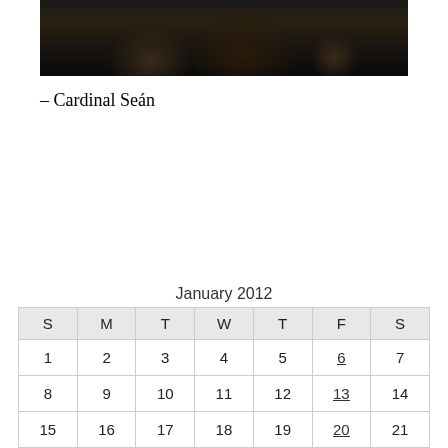[Figure (photo): Dark photograph showing silhouettes of people, likely in a formal or religious setting with wooden furniture in the background.]
– Cardinal Seán
| S | M | T | W | T | F | S |
| --- | --- | --- | --- | --- | --- | --- |
| 1 | 2 | 3 | 4 | 5 | 6 | 7 |
| 8 | 9 | 10 | 11 | 12 | 13 | 14 |
| 15 | 16 | 17 | 18 | 19 | 20 | 21 |
| 22 | 23 | 24 | 25 | 26 | 27 | 28 |
| 29 | 30 | 31 |  |  |  |  |